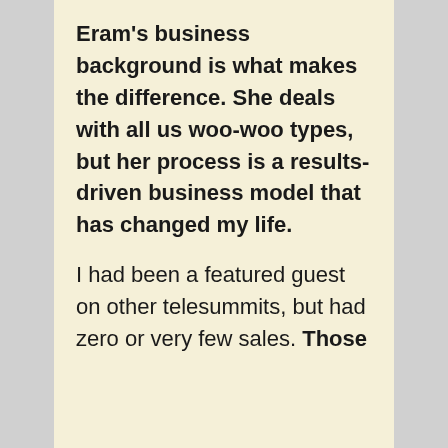Eram's business background is what makes the difference. She deals with all us woo-woo types, but her process is a results-driven business model that has changed my life.
I had been a featured guest on other telesummits, but had zero or very few sales. Those